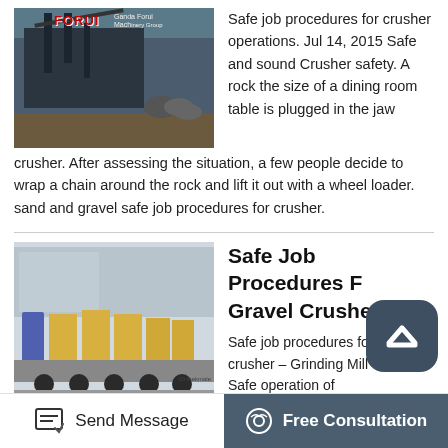[Figure (photo): Photo of a large industrial crusher machine on a construction/mining site with red FORUI logo visible]
Safe job procedures for crusher operations. Jul 14, 2015 Safe and sound Crusher safety. A rock the size of a dining room table is plugged in the jaw crusher. After assessing the situation, a few people decide to wrap a chain around the rock and lift it out with a wheel loader. sand and gravel safe job procedures for crusher.
[Figure (photo): Photo of industrial crushing equipment loaded on a flatbed truck/trailer]
Safe Job Procedures For Gravel Crusher
Safe job procedures for gravel crusher – Grinding Mill China. Safe operation of crushers,Primary crushing operation for Sand, Gravel. Home › Project › Safe operation of crushers (03-21-2012)
Product List there are many similarities in the job procedures followed by